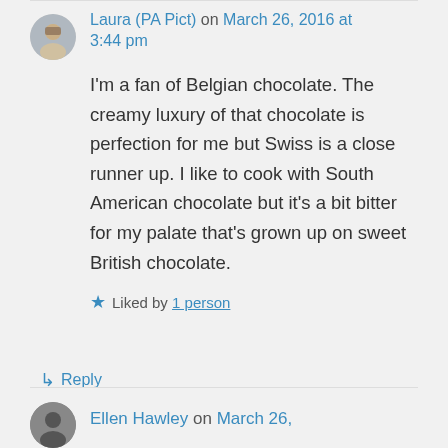Laura (PA Pict) on March 26, 2016 at 3:44 pm
I'm a fan of Belgian chocolate. The creamy luxury of that chocolate is perfection for me but Swiss is a close runner up. I like to cook with South American chocolate but it's a bit bitter for my palate that's grown up on sweet British chocolate.
★ Liked by 1 person
↳ Reply
Ellen Hawley on March 26,